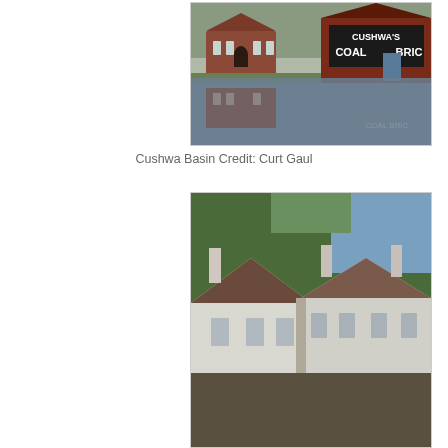[Figure (photo): Cushwa Basin historic site showing brick warehouse buildings reflected in the canal water, with signage reading CUSHWA'S COAL BRICK visible on a red barn-like structure.]
Cushwa Basin Credit: Curt Gaul
[Figure (photo): White historic building with chimneys and a brown roof, surrounded by trees, likely a lockhouse or historic structure along the C&O Canal.]